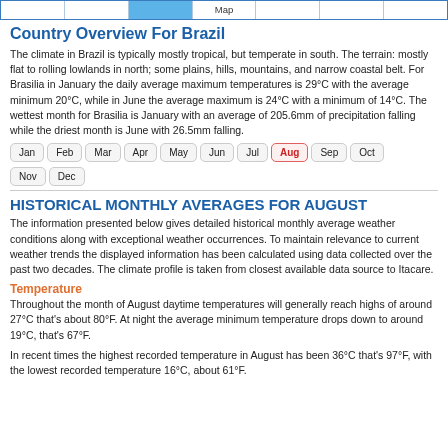Map
Country Overview For Brazil
The climate in Brazil is typically mostly tropical, but temperate in south. The terrain: mostly flat to rolling lowlands in north; some plains, hills, mountains, and narrow coastal belt. For Brasilia in January the daily average maximum temperatures is 29°C with the average minimum 20°C, while in June the average maximum is 24°C with a minimum of 14°C. The wettest month for Brasilia is January with an average of 205.6mm of precipitation falling while the driest month is June with 26.5mm falling.
Jan Feb Mar Apr May Jun Jul Aug Sep Oct Nov Dec
HISTORICAL MONTHLY AVERAGES FOR AUGUST
The information presented below gives detailed historical monthly average weather conditions along with exceptional weather occurrences. To maintain relevance to current weather trends the displayed information has been calculated using data collected over the past two decades. The climate profile is taken from closest available data source to Itacare.
Temperature
Throughout the month of August daytime temperatures will generally reach highs of around 27°C that's about 80°F. At night the average minimum temperature drops down to around 19°C, that's 67°F.
In recent times the highest recorded temperature in August has been 36°C that's 97°F, with the lowest recorded temperature 16°C, about 61°F.